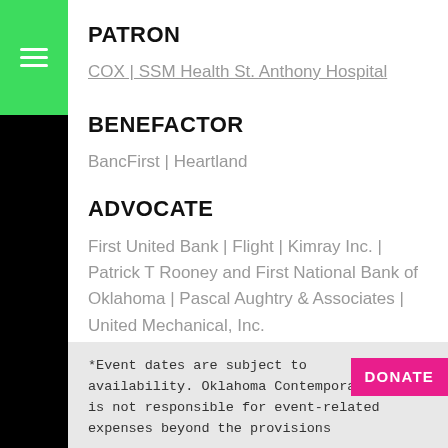PATRON
COX | SSM Health St. Anthony Hospital
BENEFACTOR
BancFirst | Heartland
ADVOCATE
First United Bank | Flight | Kimray Inc. | Patrick T Rooney and First National Bank of Oklahoma | Pascal Aughtry & Associates | United Mechanical, Inc.
*Event dates are subject to availability. Oklahoma Contemporary is not responsible for event-related expenses beyond the provisions